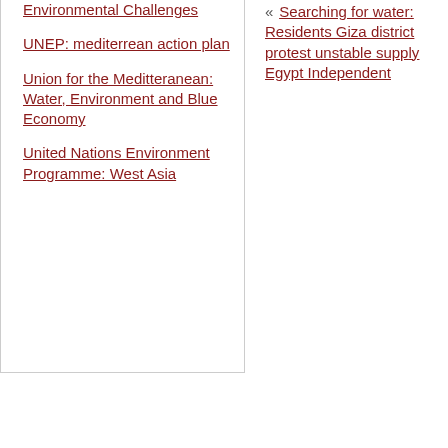Environmental Challenges
UNEP: mediterrean action plan
Union for the Meditteranean: Water, Environment and Blue Economy
United Nations Environment Programme: West Asia
« Searching for water: Residents Giza district protest unstable supply Egypt Independent